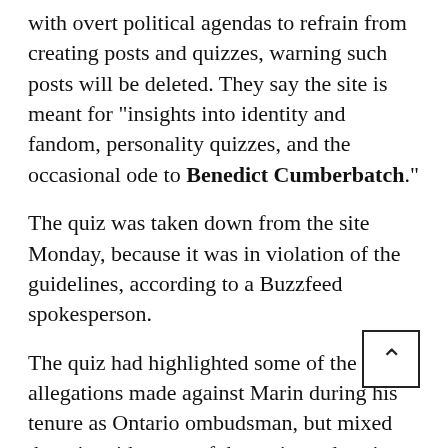with overt political agendas to refrain from creating posts and quizzes, warning such posts will be deleted. They say the site is meant for "insights into identity and fandom, personality quizzes, and the occasional ode to Benedict Cumberbatch."
The quiz was taken down from the site Monday, because it was in violation of the guidelines, according to a Buzzfeed spokesperson.
The quiz had highlighted some of the allegations made against Marin during his tenure as Ontario ombudsman, but mixed them in with some of the racist and sexist things Trump has said and done – and which Marin has never been accused of doing.
Here are the quiz questions and answers: